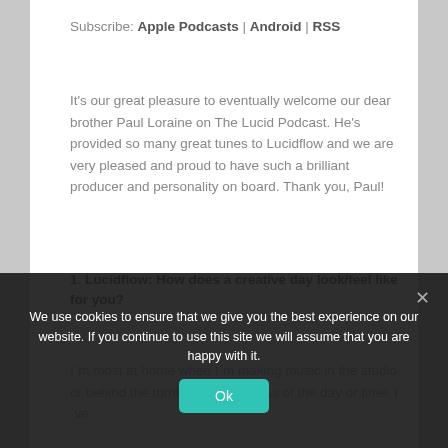Subscribe: Apple Podcasts | Android | RSS
It's our great pleasure to eventually welcome our dear brother Paul Loraine on The Lucid Podcast. He's provided so many great tunes to Lucidflow and we are very pleased and proud to have such a brilliant producer and personality on board. Thank you, Paul!
1. Lucidflow: How does a creative day look/feel like for you?
I´m most at home when I´m making music in the studio or behind the turntables regardless of the day or time. I´ve
days without any br... ...me the
2. Lucidflow: How do you involve yourself in being
We use cookies to ensure that we give you the best experience on our website. If you continue to use this site we will assume that you are happy with it.
Ok